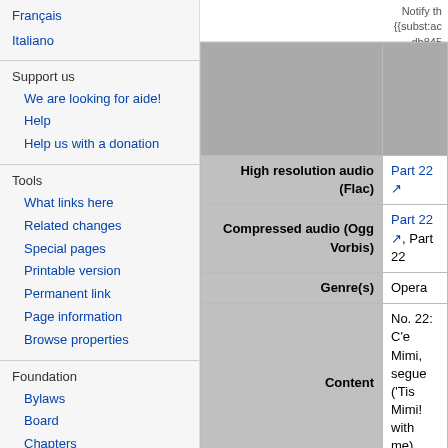Français
Italiano
Support us
We are looking for aide!
Help
Help us with a donation
Tools
What links here
Related changes
Special pages
Printable version
Permanent link
Page information
Browse properties
Foundation
Bylaws
Board
Chapters
Staff
Supporters
Notify th
{{subst:ac
db845
| Field | Value |
| --- | --- |
| High resolution audio (Flac) | Part 22 |
| Compressed audio (Ogg Vorbis) | Part 22, Part 22 |
| Genre(s) | Opera |
| Content | No. 22: C'e Mimi, segue ('Tis Mimi! with me) |
| Description | HMV DB 8452-84 |
| Lyricist(s) | Luigi Illica (1857– Giuseppe Giacos |
| Music arranger(s) | none |
| Conductor(s) | Umberto Berretto |